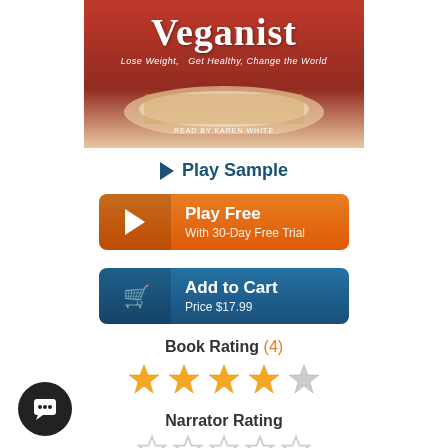[Figure (photo): Book cover for 'Veganist: Lose Weight, Get Healthy, Change the World' read by Karen White, showing a woman in red holding a plate of food]
▶ Play Sample
[Figure (other): Orange Play Free button with 30-Day Free Trial text]
[Figure (other): Blue Add to Cart button with Price $17.99]
Book Rating (4)
[Figure (other): 4.5 out of 5 stars rating (4 filled stars, 1 half/empty star)]
Narrator Rating
[Figure (other): Empty star rating row for narrator]